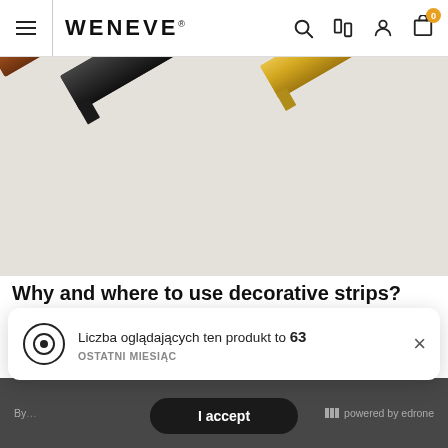WENEVE
[Figure (photo): Decorative metal strips in black, gold, and copper/brown colors arranged diagonally on a light gray background, showing C-channel profile cross-sections.]
Why and where to use decorative strips?
SM decorative strips are a durable and aesthetic solution for people who pay attention to details. They give the opportunity to...
Liczba oglądających ten produkt to 63 OSTATNI MIESIĄC
I accept